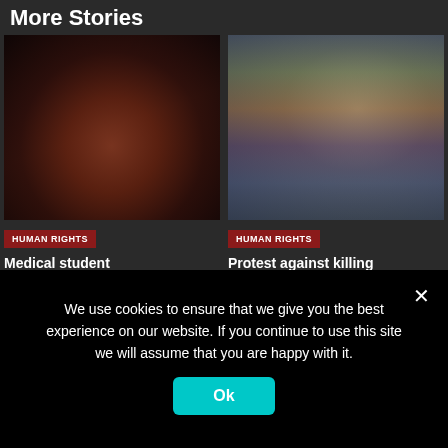More Stories
[Figure (photo): Close-up dark image of handcuffs on hands]
[Figure (photo): Crowd of people with raised hands at a protest]
HUMAN RIGHTS
Medical student
HUMAN RIGHTS
Protest against killing
We use cookies to ensure that we give you the best experience on our website. If you continue to use this site we will assume that you are happy with it.